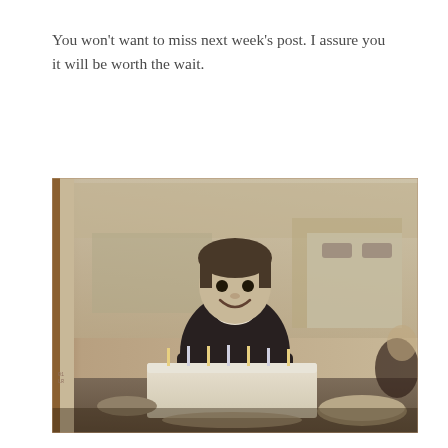You won't want to miss next week's post. I assure you it will be worth the wait.
[Figure (photo): Vintage black-and-white photograph of a young child smiling behind a birthday cake with candles on a table, in a kitchen setting. Another person is partially visible on the right. The photo appears to be from the 1950s or 1960s.]